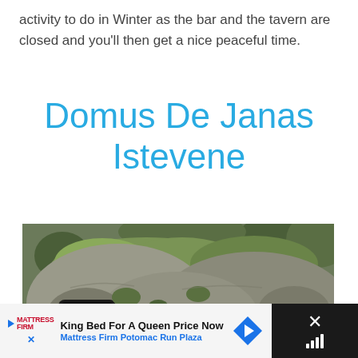activity to do in Winter as the bar and the tavern are closed and you'll then get a nice peaceful time.
Domus De Janas Istevene
[Figure (photo): Stone cave dwellings (Domus De Janas) carved into rock, covered with green moss and ivy, with rectangular doorway openings, surrounded by trees]
King Bed For A Queen Price Now Mattress Firm Potomac Run Plaza